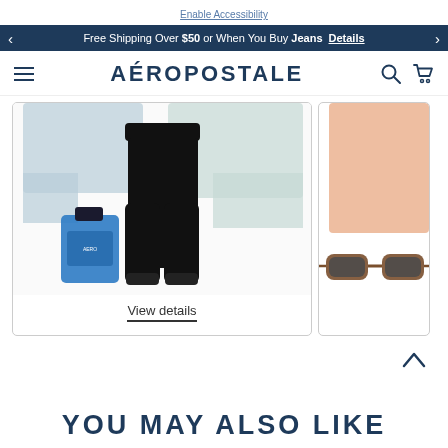Enable Accessibility
Free Shipping Over $50 or When You Buy Jeans  Details
AÉROPOSTALE
[Figure (photo): Product page showing black jogger pants with a light blue shirt in the background and a blue cologne bottle on the left side. A partial second product card is visible on the right showing a peach top and brown sunglasses.]
View details
YOU MAY ALSO LIKE